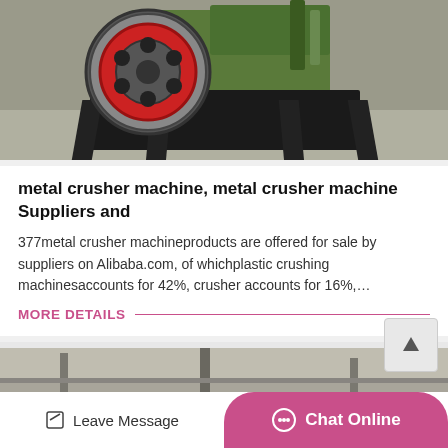[Figure (photo): Industrial metal crusher / jaw crusher machine with large red flywheel, green body, on a black frame, in a factory setting]
metal crusher machine, metal crusher machine Suppliers and
377metal crusher machineproducts are offered for sale by suppliers on Alibaba.com, of whichplastic crushing machinesaccounts for 42%, crusher accounts for 16%,…
MORE DETAILS
[Figure (photo): Partial view of another industrial machine in a factory/warehouse setting]